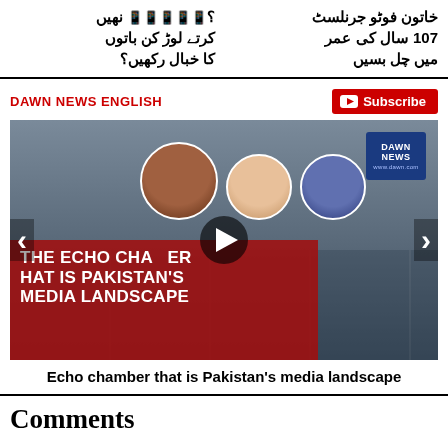کرتے لوڑ کن باتوں کا خبال رکھیں؟
خاتون فوٹو جرنلسٹ 107 سال کی عمر میں چل بسیں
DAWN NEWS ENGLISH
Subscribe
[Figure (screenshot): Video thumbnail showing 'THE ECHO CHAMBER THAT IS PAKISTAN'S MEDIA LANDSCAPE' with three circular avatar portraits and a play button, Dawn News logo in top right corner, red overlay on bottom left with white text, navigation arrows on sides.]
Echo chamber that is Pakistan's media landscape
Comments